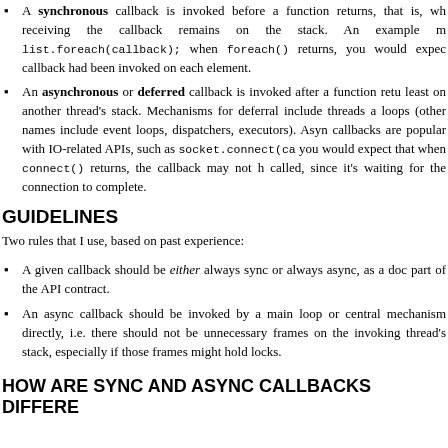A synchronous callback is invoked before a function returns, that is, while the frame receiving the callback remains on the stack. An example might be list.foreach(callback); when foreach() returns, you would expect that the callback had been invoked on each element.
An asynchronous or deferred callback is invoked after a function returns, at least on another thread's stack. Mechanisms for deferral include threads and message loops (other names include event loops, dispatchers, executors). Asynchronous callbacks are popular with IO-related APIs, such as socket.connect(callback); you would expect that when connect() returns, the callback may not have been called, since it's waiting for the connection to complete.
GUIDELINES
Two rules that I use, based on past experience:
A given callback should be either always sync or always async, as a documented part of the API contract.
An async callback should be invoked by a main loop or central dispatch mechanism directly, i.e. there should not be unnecessary frames on the invoking thread's stack, especially if those frames might hold locks.
HOW ARE SYNC AND ASYNC CALLBACKS DIFFERE